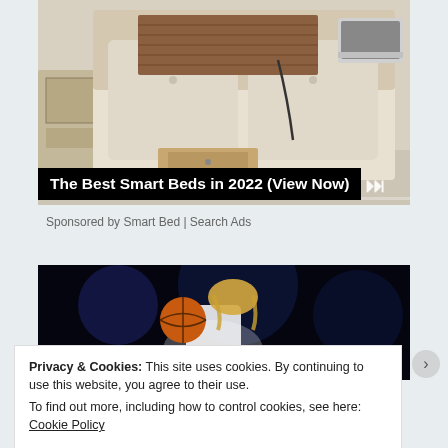[Figure (photo): Advertisement image showing a smart bed with storage drawers, cushioned headboard, and laptop stand. Media player controls (skip back, pause, skip forward) visible at bottom right. Progress bar at bottom.]
The Best Smart Beds in 2022 (View Now)
Sponsored by Smart Bed | Search Ads
[Figure (photo): Dark basketball action photo showing a player in white jersey holding a basketball, partially visible.]
Privacy & Cookies: This site uses cookies. By continuing to use this website, you agree to their use.
To find out more, including how to control cookies, see here: Cookie Policy
Close and accept